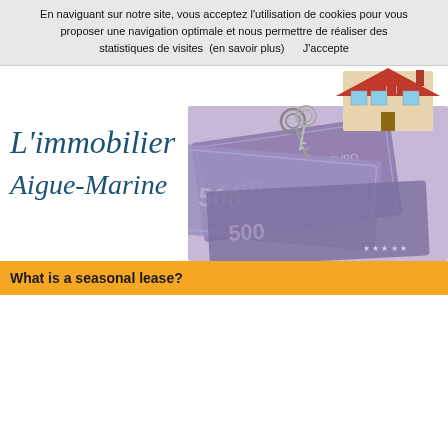En naviguant sur notre site, vous acceptez l'utilisation de cookies pour vous proposer une navigation optimale et nous permettre de réaliser des statistiques de visites  (en savoir plus)      J'accepte
[Figure (logo): L'immobilier Aigue-Marine logo in italic blue serif font on left, with a photo collage on the right showing a model house, keys, and Euro banknotes]
What is a seasonal lease?